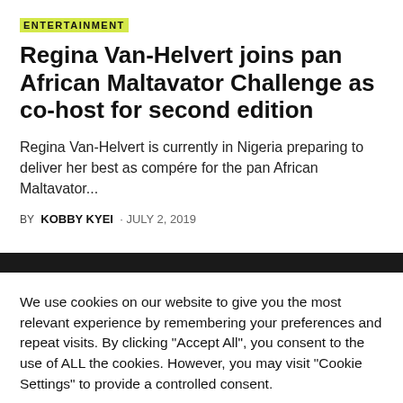ENTERTAINMENT
Regina Van-Helvert joins pan African Maltavator Challenge as co-host for second edition
Regina Van-Helvert is currently in Nigeria preparing to deliver her best as compére for the pan African Maltavator...
BY KOBBY KYEI · JULY 2, 2019
We use cookies on our website to give you the most relevant experience by remembering your preferences and repeat visits. By clicking "Accept All", you consent to the use of ALL the cookies. However, you may visit "Cookie Settings" to provide a controlled consent.